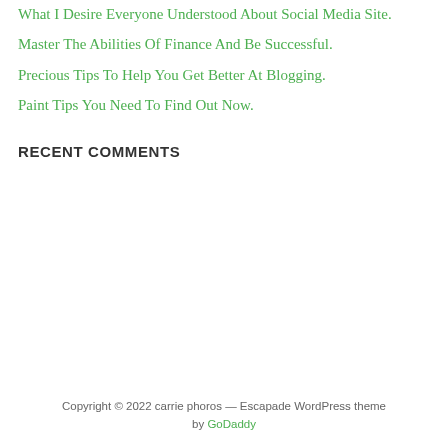What I Desire Everyone Understood About Social Media Site.
Master The Abilities Of Finance And Be Successful.
Precious Tips To Help You Get Better At Blogging.
Paint Tips You Need To Find Out Now.
RECENT COMMENTS
Copyright © 2022 carrie phoros — Escapade WordPress theme by GoDaddy